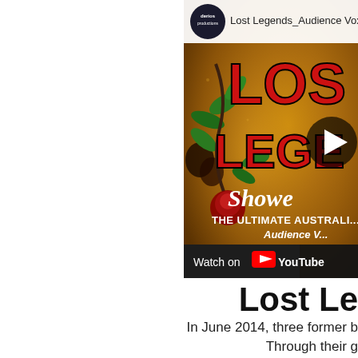[Figure (screenshot): YouTube video thumbnail showing 'Lost Legends_Audience Vox pop' with channel icon, golden textured background, Lost Legends Showcase logo in red, decorative roses and leaves, play button, Watch on YouTube button, and text 'THE ULTIMATE AUSTRALIAN...' and 'Audience V...']
Lost Le
In June 2014, three former b... Through their g...